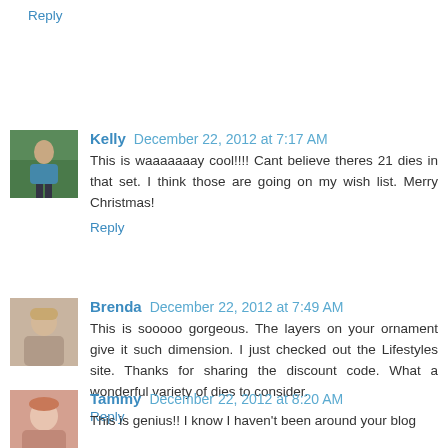Reply
Kelly December 22, 2012 at 7:17 AM
This is waaaaaaay cool!!!! Cant believe theres 21 dies in that set. I think those are going on my wish list. Merry Christmas!
Reply
Brenda December 22, 2012 at 7:49 AM
This is sooooo gorgeous. The layers on your ornament give it such dimension. I just checked out the Lifestyles site. Thanks for sharing the discount code. What a wonderful variety of dies to consider.
Reply
Tammy December 22, 2012 at 8:20 AM
This is genius!! I know I haven't been around your blog